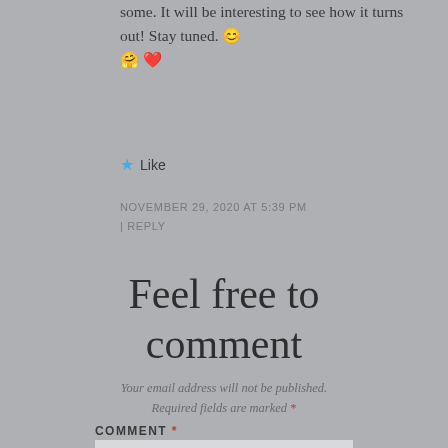some. It will be interesting to see how it turns out! Stay tuned. 😊 🤗 ❤️
★ Like
NOVEMBER 29, 2020 AT 5:39 PM | REPLY
Feel free to comment
Your email address will not be published. Required fields are marked *
COMMENT *